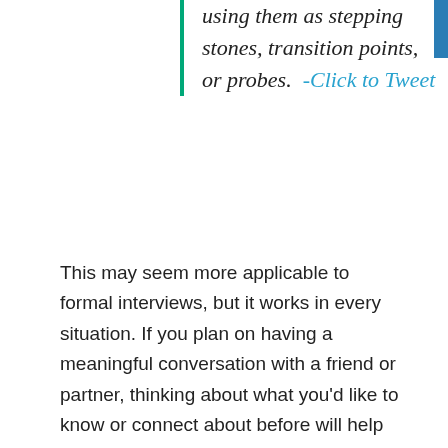using them as stepping stones, transition points, or probes. -Click to Tweet
This may seem more applicable to formal interviews, but it works in every situation. If you plan on having a meaningful conversation with a friend or partner, thinking about what you'd like to know or connect about before will help you unearth things you never knew